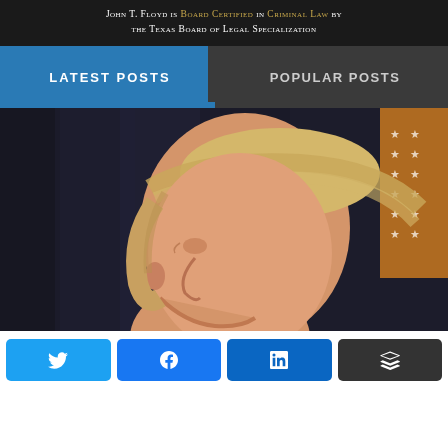[Figure (illustration): Dark banner: 'John T. Floyd is Board Certified in Criminal Law by the Texas Board of Legal Specialization' with highlighted text in gold]
[Figure (screenshot): Tab navigation showing 'Latest Posts' (active, blue) and 'Popular Posts' (inactive, dark grey)]
[Figure (photo): Side profile photo of a person with blonde hair against a dark curtain background with an American flag visible on the right]
[Figure (infographic): Social share buttons: Twitter (blue), Facebook (blue), LinkedIn (dark blue), Buffer (dark grey)]